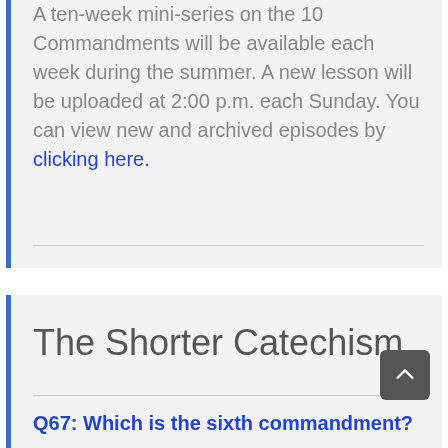A ten-week mini-series on the 10 Commandments will be available each week during the summer. A new lesson will be uploaded at 2:00 p.m. each Sunday. You can view new and archived episodes by clicking here.
The Shorter Catechism
Q67: Which is the sixth commandment?